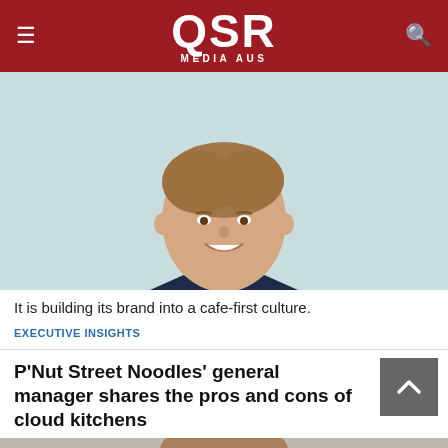QSR MEDIA AUS
[Figure (photo): Professional headshot of a smiling man in a dark pinstripe suit and light blue shirt, against a light teal background]
It is building its brand into a cafe-first culture.
EXECUTIVE INSIGHTS
P'Nut Street Noodles' general manager shares the pros and cons of cloud kitchens
[Figure (photo): Partial headshot of a person, cropped at the bottom of the page]